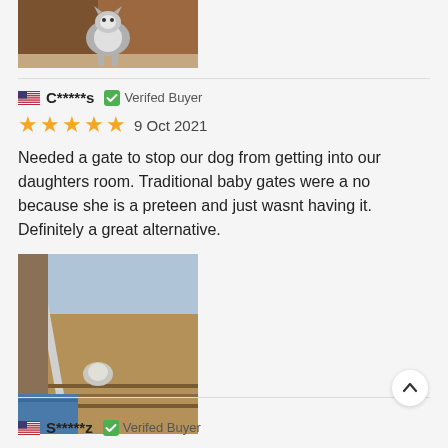[Figure (photo): Photo of a dog (husky) standing near a door, partially visible at top of page]
C*****s  Verifed Buyer
9 Oct 2021
Needed a gate to stop our dog from getting into our daughters room. Traditional baby gates were a no because she is a preteen and just wasnt having it. Definitely a great alternative.
[Figure (photo): Photo showing a dog gate or barrier installed at a doorway, viewed from an angle]
S*****z  Verifed Buyer